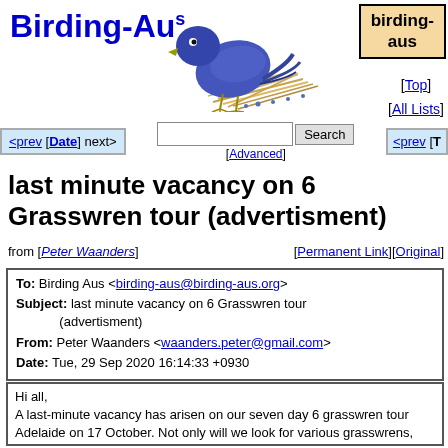Birding-Aus
[Figure (illustration): Illustrated blue bird on dried grass/straw]
birding-aus
[Top] [All Lists]
<prev [Date] next>
[Advanced]
<prev [T
last minute vacancy on 6 Grasswren tour (advertisment)
from [Peter Waanders]  [Permanent Link][Original]
| To: | Birding Aus <birding-aus@birding-aus.org> |
| Subject: | last minute vacancy on 6 Grasswren tour (advertisment) |
| From: | Peter Waanders <waanders.peter@gmail.com> |
| Date: | Tue, 29 Sep 2020 16:14:33 +0930 |
Hi all,
A last-minute vacancy has arisen on our seven day 6 grasswren tour Adelaide on 17 October. Not only will we look for various grasswrens, nesting Grey Falcons, as well as Gibberbirds Flock Bronzewing, Barking and many other good outback species lined up. The tour will go up the